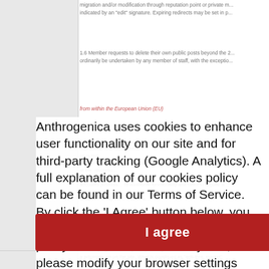migration and/or modification through reputation point or private m... indicated by an "edit" signature. Expiring redirects may be set in p...
1.6 Member requests to delete their own public posts beyond the 2... ordinarily be undertaken by any member of staff, with the exceptio...
from within the European Union (EU)
Anthrogenica uses cookies to enhance user functionality on our site and for third-party tracking (Google Analytics). A full explanation of our cookies policy can be found in our Terms of Service. By click the 'I Agree' button below, you are actively consenting to our cookies policy. To rescind consent anytime, please modify your browser settings accordingly. For further information regarding your privacy and our policies, please specifically refer to sections 1.6, 5.5-5.8 and 6.9.
1.7 To foster a healthy but orderly free market environme... nt, certifie... maintain a dest... ction with... on is faci... accounts, which can be created by hosting by contributing... a membe... at the... discretio... n of incre... accounts possess... to additional functionality and rated to regular a... anies, an... ounts ar... Rep an... it with re...
1.9 It is... es with m... ty or fal... e to maintain on... of these T... administration... members are required to contact one o... e active
[Figure (other): Red 'I agree' button for cookie consent dialog]